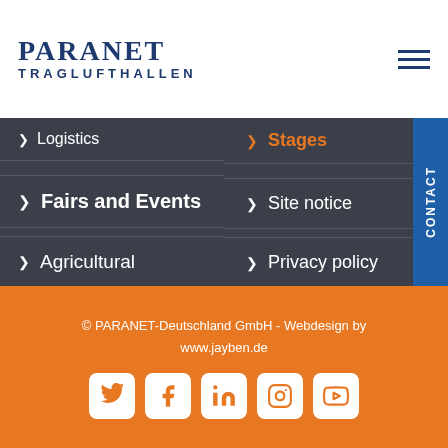PARANET TRAGLUFTHALLEN
Logistics
Fairs and Events
Agricultural
Stages
Site notice
Privacy policy
© PARANET-Deutschland GmbH - Webdesign by www.jayben.de